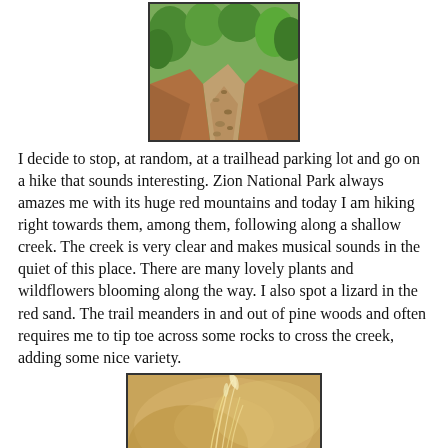[Figure (photo): A rocky dirt trail surrounded by green shrubs and trees in Zion National Park, viewed looking down the path.]
I decide to stop, at random, at a trailhead parking lot and go on a hike that sounds interesting. Zion National Park always amazes me with its huge red mountains and today I am hiking right towards them, among them, following along a shallow creek. The creek is very clear and makes musical sounds in the quiet of this place. There are many lovely plants and wildflowers blooming along the way. I also spot a lizard in the red sand. The trail meanders in and out of pine woods and often requires me to tip toe across some rocks to cross the creek, adding some nice variety.
[Figure (photo): A close-up macro photograph of dried grass or plant fibers glowing with a warm golden-tan bokeh background.]